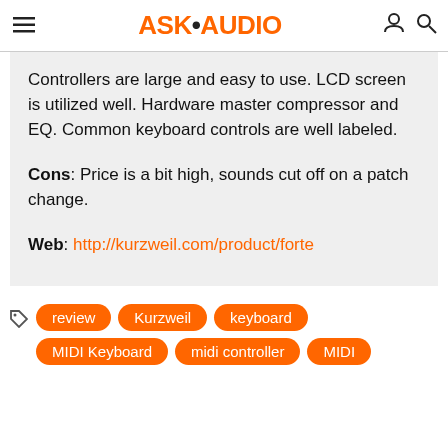ASK•AUDIO
Controllers are large and easy to use. LCD screen is utilized well. Hardware master compressor and EQ. Common keyboard controls are well labeled.
Cons: Price is a bit high, sounds cut off on a patch change.
Web: http://kurzweil.com/product/forte
review
Kurzweil
keyboard
MIDI Keyboard
midi controller
MIDI